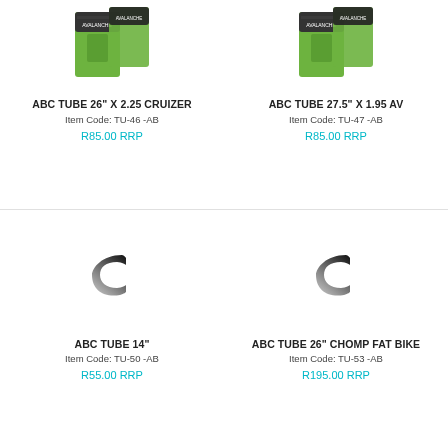[Figure (photo): Photo of ABC TUBE product box, green and black packaging with Avalanche branding, top-left product]
ABC TUBE 26" X 2.25 CRUIZER
Item Code: TU-46 -AB
R85.00 RRP
[Figure (photo): Photo of ABC TUBE product box, green and black packaging with Avalanche branding, top-right product]
ABC TUBE 27.5" X 1.95 AV
Item Code: TU-47 -AB
R85.00 RRP
[Figure (other): Loading spinner icon, bottom-left product image placeholder]
ABC TUBE 14"
Item Code: TU-50 -AB
R55.00 RRP
[Figure (other): Loading spinner icon, bottom-right product image placeholder]
ABC TUBE 26" CHOMP FAT BIKE
Item Code: TU-53 -AB
R195.00 RRP